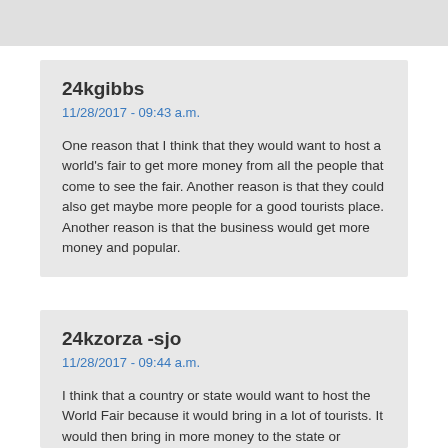24kgibbs
11/28/2017 - 09:43 a.m.
One reason that I think that they would want to host a world's fair to get more money from all the people that come to see the fair. Another reason is that they could also get maybe more people for a good tourists place. Another reason is that the business would get more money and popular.
24kzorza -sjo
11/28/2017 - 09:44 a.m.
I think that a country or state would want to host the World Fair because it would bring in a lot of tourists. It would then bring in more money to the state or country.